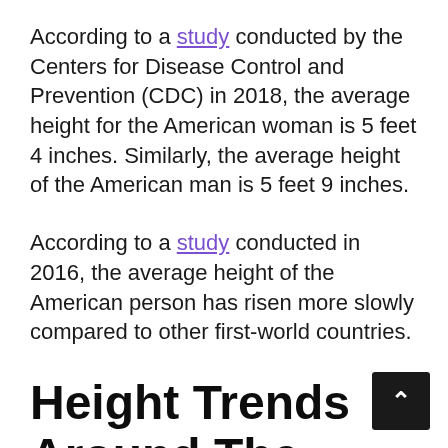According to a study conducted by the Centers for Disease Control and Prevention (CDC) in 2018, the average height for the American woman is 5 feet 4 inches. Similarly, the average height of the American man is 5 feet 9 inches.
According to a study conducted in 2016, the average height of the American person has risen more slowly compared to other first-world countries.
Height Trends Around The World